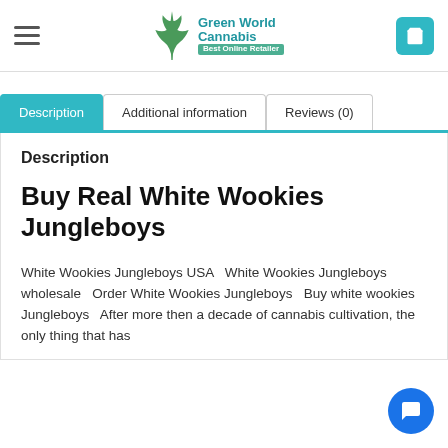[Figure (logo): Green World Cannabis logo with cannabis leaf icon, teal text 'Green World Cannabis' and banner 'Best Online Retailer']
Description
Buy Real White Wookies Jungleboys
White Wookies Jungleboys USA   White Wookies Jungleboys wholesale   Order White Wookies Jungleboys   Buy white wookies Jungleboys   After more then a decade of cannabis cultivation, the only thing that has